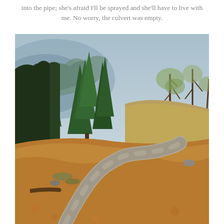into the pipe; she's afraid I'll be sprayed and she'll have to live with me. No worry, the culvert was empty.
[Figure (photo): A winding dirt/gravel road curving through a forest landscape with tall evergreen pine trees on the left side and sparse deciduous trees on the right. The ground is covered with autumn leaves and dry grass. Mountains with hazy blue atmosphere are visible in the background.]